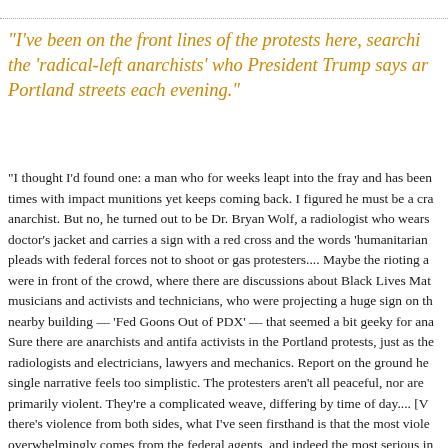"I've been on the front lines of the protests here, searching for the 'radical-left anarchists' who President Trump says are taking over Portland streets each evening."
"I thought I'd found one: a man who for weeks leapt into the fray and has been hit many times with impact munitions yet keeps coming back. I figured he must be a crazed anarchist. But no, he turned out to be Dr. Bryan Wolf, a radiologist who wears a doctor's jacket and carries a sign with a red cross and the words 'humanitarian' and pleads with federal forces not to shoot or gas protesters.... Maybe the rioting anarchists were in front of the crowd, where there are discussions about Black Lives Matter, musicians and activists and technicians, who were projecting a huge sign on the nearby building — 'Fed Goons Out of PDX' — that seemed a bit geeky for anarchists. Sure there are anarchists and antifa activists in the Portland protests, just as there are radiologists and electricians, lawyers and mechanics. Report on the ground here, and a single narrative feels too simplistic. The protesters aren't all peaceful, nor are they primarily violent. They're a complicated weave, differing by time of day....  [W]here there's violence from both sides, what I've seen firsthand is that the most violence overwhelmingly comes from the federal agents, and indeed the most serious in